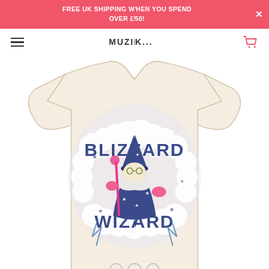FREE UK SHIPPING WHEN YOU SPEND OVER £50!
[Figure (screenshot): Navigation bar with hamburger menu, store logo, and shopping cart icon]
[Figure (photo): Cream/natural colored t-shirt with a graphic print showing a wizard character with the text 'Blizzard Wizard' surrounded by clouds and stars in blue, pink and dark colors]